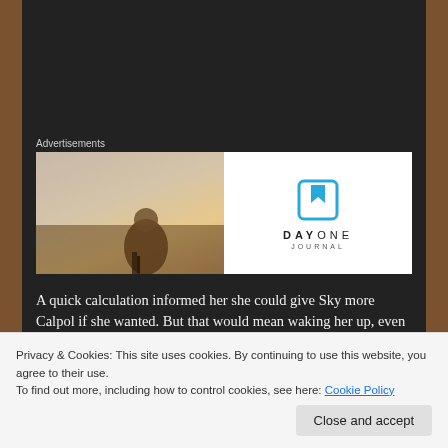Advertisements
[Figure (photo): Advertisement banner for Day One Journal app. Left half shows a photo of a person from behind with light sky background. Right half shows the Day One Journal logo (blue bookmark icon) and text 'DAYONE JOURNAL'.]
A quick calculation informed her she could give Sky more Calpol if she wanted. But that would mean waking her up, even with the handy syringe the lovely lady with the
Privacy & Cookies: This site uses cookies. By continuing to use this website, you agree to their use.
To find out more, including how to control cookies, see here: Cookie Policy
Close and accept
Poor Ruth, she wasn't thinking much of anything.